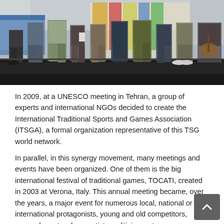[Figure (photo): Group of people standing on an outdoor stage or platform, photographed from the waist down or mid-body. Colorful banners/flags visible in background. A guitarist is seated on the right side. The setting appears to be an outdoor event or festival.]
In 2009, at a UNESCO meeting in Tehran, a group of experts and international NGOs decided to create the International Traditional Sports and Games Association (ITSGA), a formal organization representative of this TSG world network.
In parallel, in this synergy movement, many meetings and events have been organized. One of them is the big international festival of traditional games, TOCATI, created in 2003 at Verona, Italy. This annual meeting became, over the years, a major event for numerous local, national or international protagonists, young and old competitors, researchers, teachers, artists, politicians, etc.